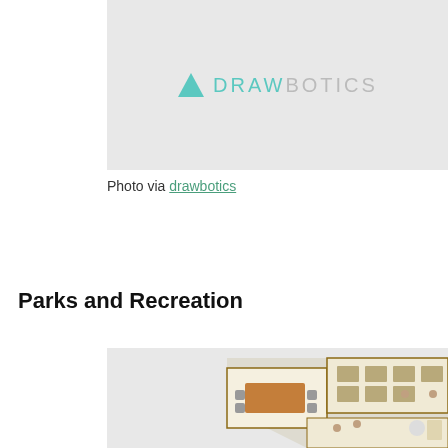[Figure (logo): Drawbotics logo with teal triangle icon and DRAWBOTICS text in grey/teal on light grey background]
Photo via drawbotics
Parks and Recreation
[Figure (illustration): 3D isometric floor plan illustration of an office/recreation building showing multiple rooms with furniture, desks, meeting tables, and small figures of people, rendered in a bird's-eye perspective]